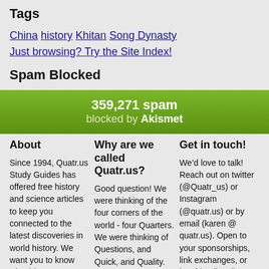Tags
China  history  Khitan  Song Dynasty
Just browsing? Try the Site Index!
Spam Blocked
[Figure (infographic): Green Akismet spam blocked counter showing 359,271 spam blocked by Akismet]
About
Since 1994, Quatr.us Study Guides has offered free history and science articles to keep you connected to the latest discoveries in world history. We want you to know why things happened, how that matters today, and
Why are we called Quatr.us?
Good question! We were thinking of the four corners of the world - four Quarters. We were thinking of Questions, and Quick, and Quality. We wanted a name that would be ours
Get in touch!
We’d love to talk! Reach out on twitter (@Quatr_us) or Instagram (@quatr.us) or by email (karen @ quatr.us). Open to your sponsorships, link exchanges, or just friendly talk about history. I’d be up for guest posts on